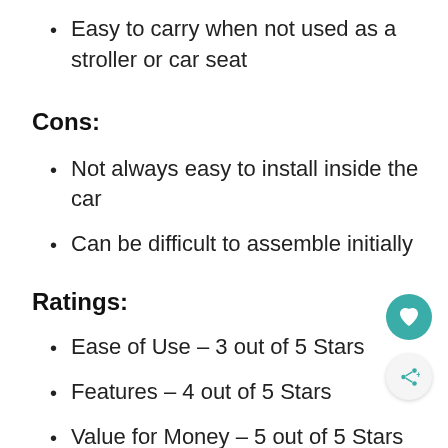Easy to carry when not used as a stroller or car seat
Cons:
Not always easy to install inside the car
Can be difficult to assemble initially
Ratings:
Ease of Use – 3 out of 5 Stars
Features – 4 out of 5 Stars
Value for Money – 5 out of 5 Stars
Final Verdict